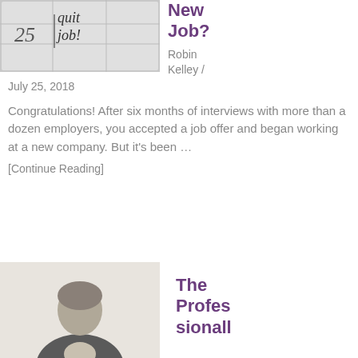[Figure (photo): A calendar page showing the 25th with 'quit job!' handwritten on it]
New Job?
Robin Kelley / July 25, 2018
Congratulations! After six months of interviews with more than a dozen employers, you accepted a job offer and began working at a new company. But it's been …
[Continue Reading]
[Figure (photo): A person in business attire, blurred background]
The Professionally